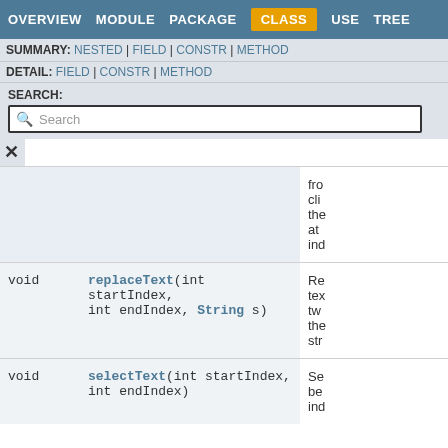OVERVIEW  MODULE  PACKAGE  CLASS  USE  TREE
SUMMARY: NESTED | FIELD | CONSTR | METHOD
DETAIL: FIELD | CONSTR | METHOD
SEARCH:
Search
|  | Method | Description |
| --- | --- | --- |
|  |  | fro
cli
the
at
ind |
| void | replaceText(int startIndex,
int endIndex, String s) | Re
tex
tw
the
str |
| void | selectText(int startIndex,
int endIndex) | Se
be
ind |